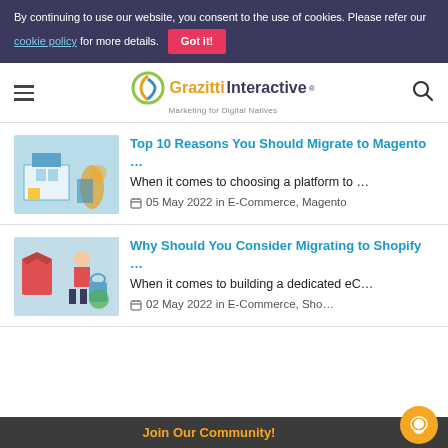By continuing to use our website, you consent to the use of cookies. Please refer our cookie policy for more details. Got it!
Grazitti Interactive — Marketing for Digital Natives
Top 10 Reasons You Should Migrate to Magento …
When it comes to choosing a platform to …
05 May 2022 in E-Commerce, Magento
Why Should You Consider Migrating to Shopify …
When it comes to building a dedicated eC…
02 May 2022 in E-Commerce, Sho…
Join Our Community!